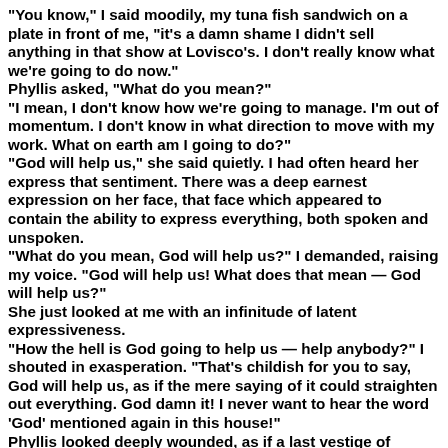"You know," I said moodily, my tuna fish sandwich on a plate in front of me, "it's a damn shame I didn't sell anything in that show at Lovisco's. I don't really know what we're going to do now." Phyllis asked, "What do you mean?" "I mean, I don't know how we're going to manage. I'm out of momentum. I don't know in what direction to move with my work. What on earth am I going to do?" "God will help us," she said quietly. I had often heard her express that sentiment. There was a deep earnest expression on her face, that face which appeared to contain the ability to express everything, both spoken and unspoken. "What do you mean, God will help us?" I demanded, raising my voice. "God will help us! What does that mean — God will help us?" She just looked at me with an infinitude of latent expressiveness. "How the hell is God going to help us — help anybody?" I shouted in exasperation. "That's childish for you to say, God will help us, as if the mere saying of it could straighten out everything. God damn it! I never want to hear the word 'God' mentioned again in this house!" Phyllis looked deeply wounded, as if a last vestige of recourse had been ripped from her heart. Here we were in a home originally built as a refuge of God and there was Phyllis being